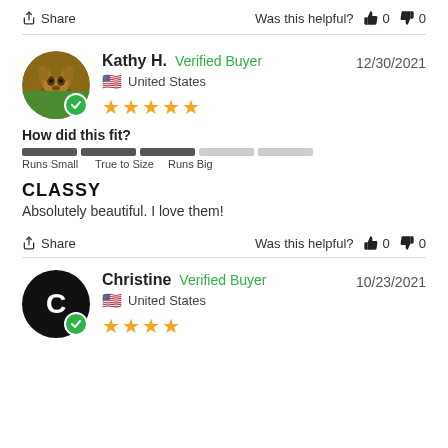Share   Was this helpful? 👍 0 👎 0
Kathy H.  Verified Buyer  12/30/2021  United States  ★★★★★
How did this fit?
Runs Small  True to Size  Runs Big
CLASSY
Absolutely beautiful. I love them!
Share   Was this helpful? 👍 0 👎 0
Christine  Verified Buyer  10/23/2021  United States  ★★★★
[Figure (photo): Circular avatar photo of a brown dachshund puppy on grass with a green verified badge]
[Figure (photo): Black circular avatar with white letter C and green verified badge]